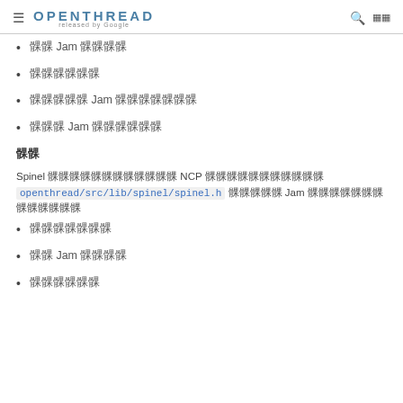OPENTHREAD released by Google
鬱 Jam 鬱鬱鬱鬱
鬱鬱鬱鬱鬱鬱
鬱鬱鬱鬱鬱 Jam 鬱鬱鬱鬱鬱鬱鬱
鬱鬱鬱 Jam 鬱鬱鬱鬱鬱鬱
鬱鬱
Spinel 鬱鬱鬱鬱鬱鬱鬱鬱鬱鬱鬱鬱 NCP 鬱鬱鬱鬱鬱鬱鬱鬱鬱鬱鬱 openthread/src/lib/spinel/spinel.h 鬱鬱鬱鬱鬱 Jam 鬱鬱鬱鬱鬱鬱鬱鬱鬱鬱鬱鬱鬱
鬱鬱鬱鬱鬱鬱鬱
鬱鬱 Jam 鬱鬱鬱鬱
鬱鬱鬱鬱鬱鬱